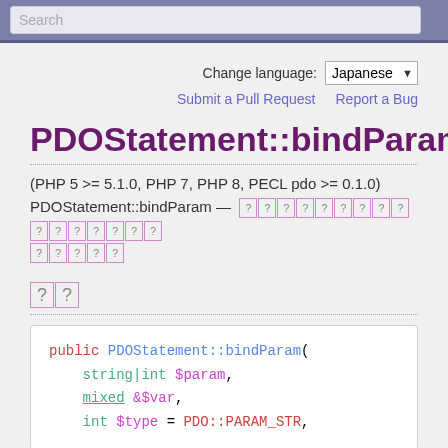Search
Change language: Japanese
Submit a Pull Request   Report a Bug
PDOStatement::bindParam
(PHP 5 >= 5.1.0, PHP 7, PHP 8, PECL pdo >= 0.1.0)
PDOStatement::bindParam — [Japanese characters - unrenderable]
[Japanese characters]
public PDOStatement::bindParam(
    string|int $param,
    mixed &$var,
    int $type = PDO::PARAM_STR,